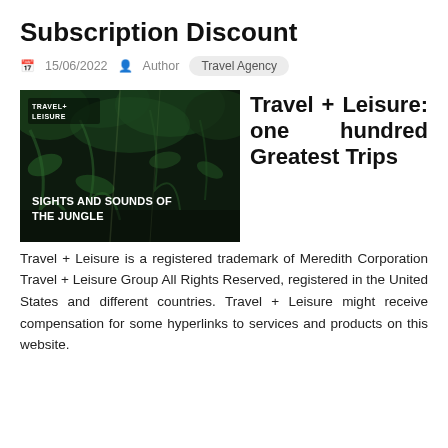Subscription Discount
15/06/2022  Author  Travel Agency
[Figure (photo): Dark jungle image with text 'SIGHTS AND SOUNDS OF THE JUNGLE' overlaid. Shows Travel+ Leisure logo in top-left corner.]
Travel + Leisure: one hundred Greatest Trips
Travel + Leisure is a registered trademark of Meredith Corporation Travel + Leisure Group All Rights Reserved, registered in the United States and different countries. Travel + Leisure might receive compensation for some hyperlinks to services and products on this website.